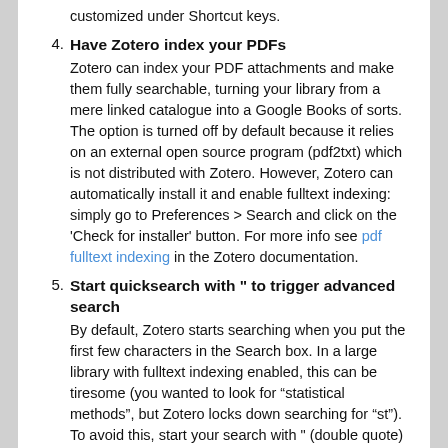customized under Shortcut keys.
4. Have Zotero index your PDFs
Zotero can index your PDF attachments and make them fully searchable, turning your library from a mere linked catalogue into a Google Books of sorts. The option is turned off by default because it relies on an external open source program (pdf2txt) which is not distributed with Zotero. However, Zotero can automatically install it and enable fulltext indexing: simply go to Preferences > Search and click on the ‘Check for installer’ button. For more info see pdf fulltext indexing in the Zotero documentation.
5. Start quicksearch with " to trigger advanced search
By default, Zotero starts searching when you put the first few characters in the Search box. In a large library with fulltext indexing enabled, this can be tiresome (you wanted to look for “statistical methods”, but Zotero locks down searching for “st”). To avoid this, start your search with " (double quote) to have Zotero wait until you finish typing and hit